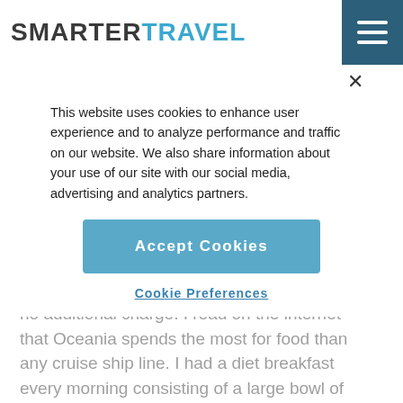SMARTERTRAVEL
This website uses cookies to enhance user experience and to analyze performance and traffic on our website. We also share information about your use of our site with our social media, advertising and analytics partners.
Accept Cookies
Cookie Preferences
no additional charge. I read on the internet that Oceania spends the most for food than any cruise ship line. I had a diet breakfast every morning consisting of a large bowl of blue berries, red raspberries, black berries